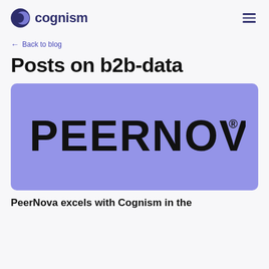cognism
← Back to blog
Posts on b2b-data
[Figure (logo): PeerNova logo in black text on a purple/periwinkle background]
PeerNova excels with Cognism in the